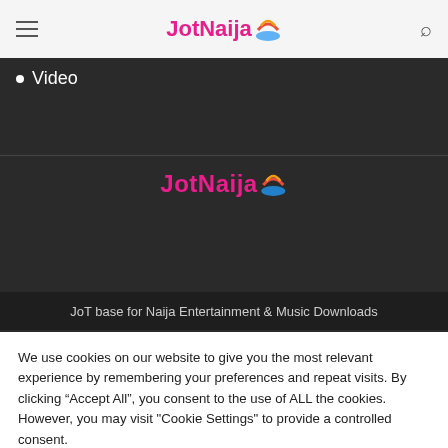JotNaija
Video
[Figure (logo): JotNaija logo centered on dark background]
JoT base for Naija Entertainment & Music Downloads
We use cookies on our website to give you the most relevant experience by remembering your preferences and repeat visits. By clicking "Accept All", you consent to the use of ALL the cookies. However, you may visit "Cookie Settings" to provide a controlled consent.
Cookie Settings | Accept All